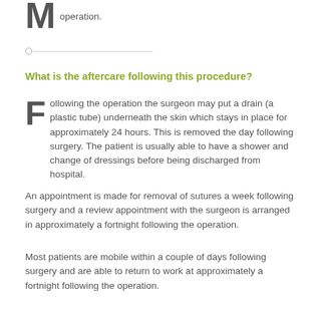operation.
What is the aftercare following this procedure?
Following the operation the surgeon may put a drain (a plastic tube) underneath the skin which stays in place for approximately 24 hours. This is removed the day following surgery. The patient is usually able to have a shower and change of dressings before being discharged from hospital.
An appointment is made for removal of sutures a week following surgery and a review appointment with the surgeon is arranged in approximately a fortnight following the operation.
Most patients are mobile within a couple of days following surgery and are able to return to work at approximately a fortnight following the operation.